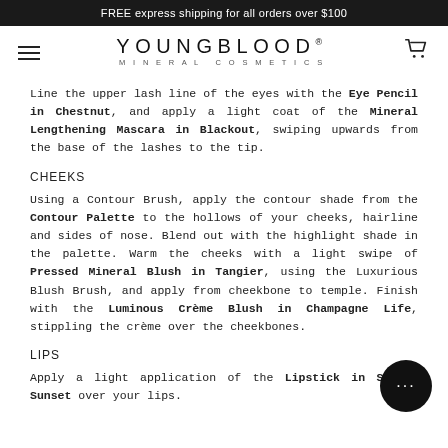FREE express shipping for all orders over $100
[Figure (logo): Youngblood Mineral Cosmetics logo with hamburger menu and cart icon]
Line the upper lash line of the eyes with the Eye Pencil in Chestnut, and apply a light coat of the Mineral Lengthening Mascara in Blackout, swiping upwards from the base of the lashes to the tip.
CHEEKS
Using a Contour Brush, apply the contour shade from the Contour Palette to the hollows of your cheeks, hairline and sides of nose. Blend out with the highlight shade in the palette. Warm the cheeks with a light swipe of Pressed Mineral Blush in Tangier, using the Luxurious Blush Brush, and apply from cheekbone to temple. Finish with the Luminous Crème Blush in Champagne Life, stippling the crème over the cheekbones.
LIPS
Apply a light application of the Lipstick in Sierra Sunset over your lips.